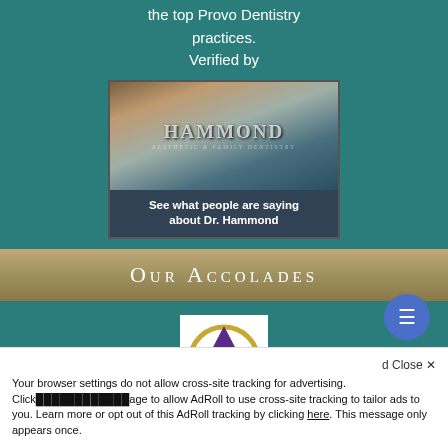the top Provo Dentistry practices.
Verified by
[Figure (photo): Video thumbnail showing Dr. Hammond smiling in front of a sign reading HAMMOND AESTHETIC & FAMILY DENTISTRY, with overlay text 'See what people are saying about Dr. Hammond']
Our Accolades
[Figure (logo): Award badge logo with a triangle/delta shape in purple and gold with a medical caduceus symbol inside]
Your browser settings do not allow cross-site tracking for advertising. Click [image] to allow AdRoll to use cross-site tracking to tailor ads to you. Learn more or opt out of this AdRoll tracking by clicking here. This message only appears once.